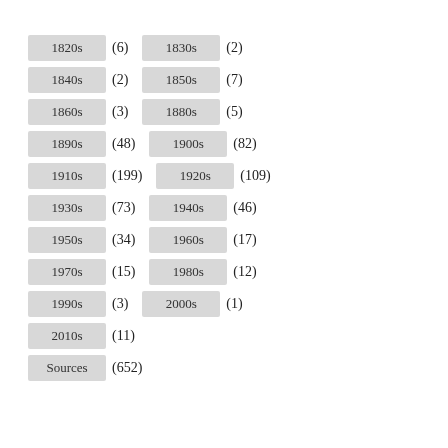1820s (6)  1830s (2)
1840s (2)  1850s (7)
1860s (3)  1880s (5)
1890s (48)  1900s (82)
1910s (199)  1920s (109)
1930s (73)  1940s (46)
1950s (34)  1960s (17)
1970s (15)  1980s (12)
1990s (3)  2000s (1)
2010s (11)
Sources (652)